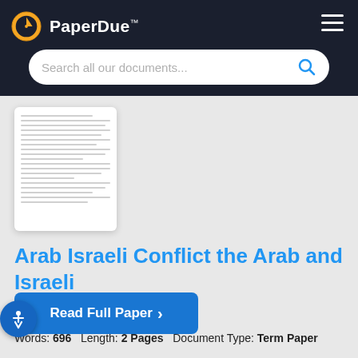PaperDue™
[Figure (screenshot): Search bar with placeholder text 'Search all our documents...' and blue search icon on dark header background]
[Figure (other): Thumbnail preview of a document page with text lines]
Arab Israeli Conflict the Arab and Israeli
Words: 696   Length: 2 Pages   Document Type: Term Paper
Paper #: 96372586
Read Full Paper  ›